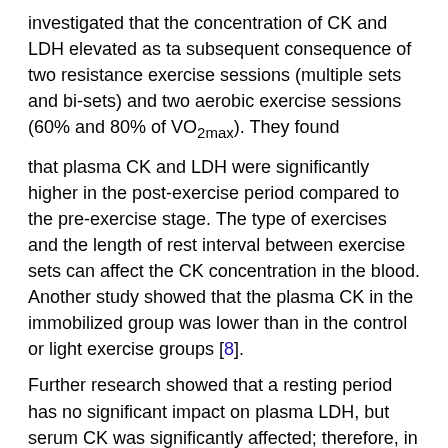investigated that the concentration of CK and LDH elevated as ta subsequent consequence of two resistance exercise sessions (multiple sets and bi-sets) and two aerobic exercise sessions (60% and 80% of VO2max). They found
that plasma CK and LDH were significantly higher in the post-exercise period compared to the pre-exercise stage. The type of exercises and the length of rest interval between exercise sets can affect the CK concentration in the blood. Another study showed that the plasma CK in the immobilized group was lower than in the control or light exercise groups [8].
Further research showed that a resting period has no significant impact on plasma LDH, but serum CK was significantly affected; therefore, in the group with a long rest period, CK has less concentration. After the futsal game, a significant raising in CK and LDH was detected in plasma samples [9]. Twenty-seven inexpert male individuals completed three sets of 30 maximal isokinetic eccentric contractions of the knee extensors [10]. The log (CK (post)/CK (pre)) looked to be carefully correlated with the relative work lessening (r=0.84).
We have previously shown that plasma lactate levels increase following the Lactate Tolerance Exercise Test [11]